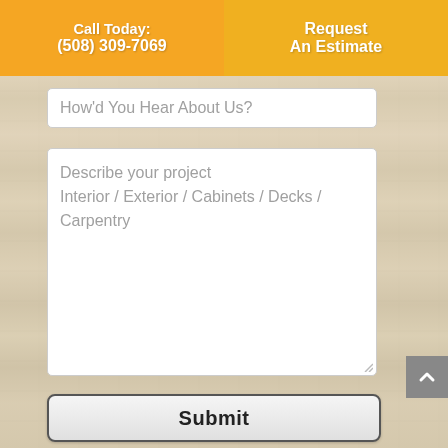Call Today: (508) 309-7069
Request An Estimate
How'd You Hear About Us?
Describe your project Interior / Exterior / Cabinets / Decks / Carpentry
Submit